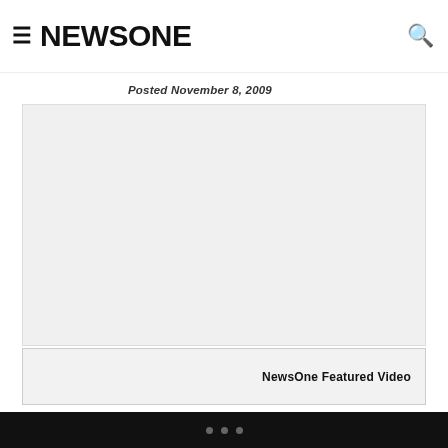≡ NEWSONE
Posted November 8, 2009
[Figure (other): Advertisement placeholder area (gray box)]
NewsOne Featured Video
LOS ANGELES — In the blink of an eye, late-night TV is shifting from a white men's club to the start of a rainbow coalition.
Wanda Sykes' weekly Fox comedy show debuts 11 p.m. EST Saturday, followed by George Lopez's four-night-a-